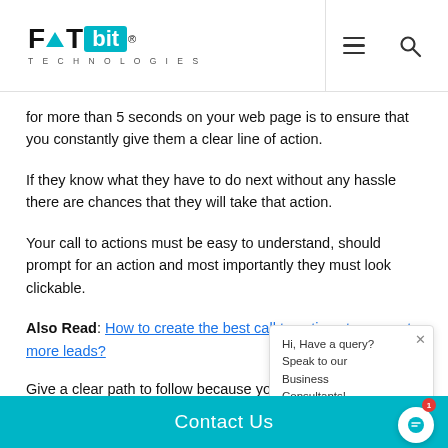FATbit TECHNOLOGIES
for more than 5 seconds on your web page is to ensure that you constantly give them a clear line of action.
If they know what they have to do next without any hassle there are chances that they will take that action.
Your call to actions must be easy to understand, should prompt for an action and most importantly they must look clickable.
Also Read: How to create the best call to actions to generate more leads?
Give a clear path to follow because you don't want your visitors to think too much when they arrive at your site and nor do you
Contact Us